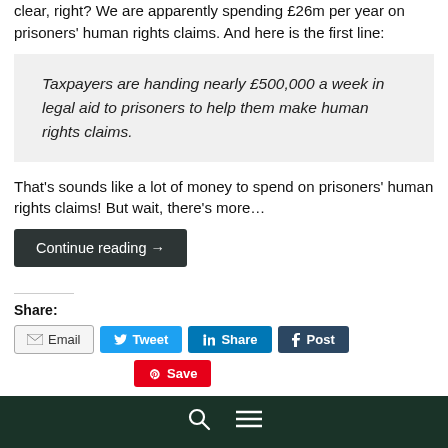clear, right? We are apparently spending £26m per year on prisoners' human rights claims. And here is the first line:
Taxpayers are handing nearly £500,000 a week in legal aid to prisoners to help them make human rights claims.
That's sounds like a lot of money to spend on prisoners' human rights claims! But wait, there's more…
Continue reading →
Share:
Email  Tweet  Share  Post  Save
Like this: